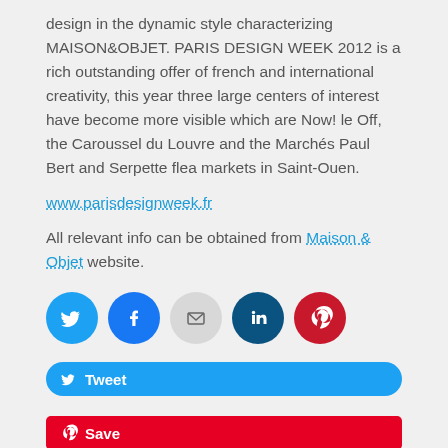design in the dynamic style characterizing MAISON&OBJET. PARIS DESIGN WEEK 2012 is a rich outstanding offer of french and international creativity, this year three large centers of interest have become more visible which are Now! le Off, the Caroussel du Louvre and the Marchés Paul Bert and Serpette flea markets in Saint-Ouen.
www.parisdesignweek.fr
All relevant info can be obtained from Maison & Objet website.
[Figure (infographic): Social share icons: Twitter (blue circle), Facebook (blue circle), Email (grey circle), LinkedIn (dark teal circle), Pinterest (red circle)]
[Figure (infographic): Tweet button (blue rounded rectangle with Twitter bird icon and 'Tweet' text) and Save button (red rectangle with Pinterest icon and 'Save' text)]